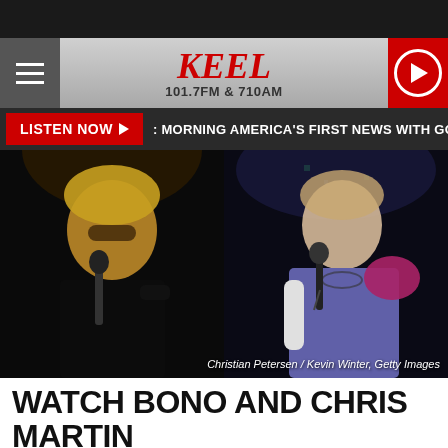[Figure (screenshot): KEEL radio station website screenshot showing header with hamburger menu, KEEL 101.7FM & 710AM logo, red play button, Listen Now bar with ticker, and two concert photos side by side of Bono (U2) and Chris Martin (Coldplay) performing on stage. Photo credit: Christian Petersen / Kevin Winter, Getty Images]
WATCH BONO AND CHRIS MARTIN